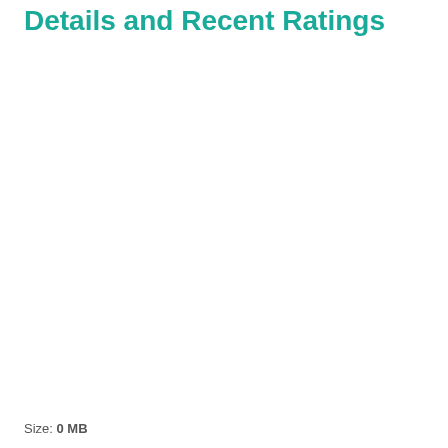Details and Recent Ratings
Size: 0 MB